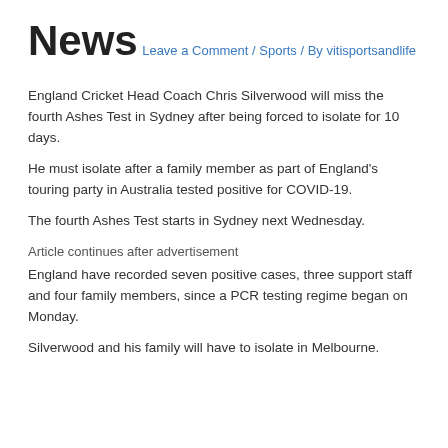News
Leave a Comment / Sports / By vitisportsandlife
England Cricket Head Coach Chris Silverwood will miss the fourth Ashes Test in Sydney after being forced to isolate for 10 days.
He must isolate after a family member as part of England's touring party in Australia tested positive for COVID-19.
The fourth Ashes Test starts in Sydney next Wednesday.
Article continues after advertisement
England have recorded seven positive cases, three support staff and four family members, since a PCR testing regime began on Monday.
Silverwood and his family will have to isolate in Melbourne.